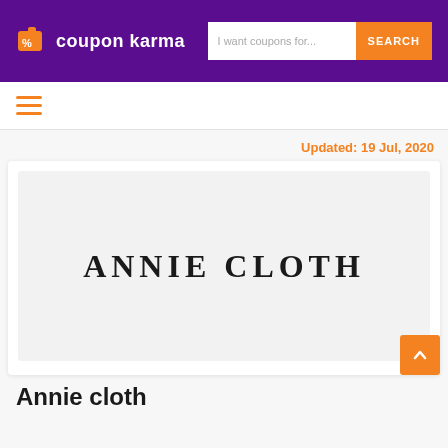coupon karma
Updated: 19 Jul, 2020
[Figure (logo): Annie Cloth brand logo — text 'ANNIE CLOTH' in bold serif uppercase letters on a light gray background]
Annie cloth